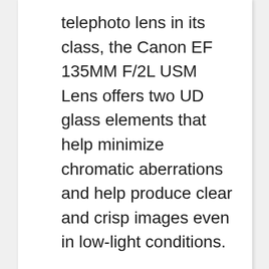telephoto lens in its class, the Canon EF 135MM F/2L USM Lens offers two UD glass elements that help minimize chromatic aberrations and help produce clear and crisp images even in low-light conditions.
The Bad
While there isn't much to say about the Canon EF 135MM F/2L USM Lens, it is still important that this device is much more